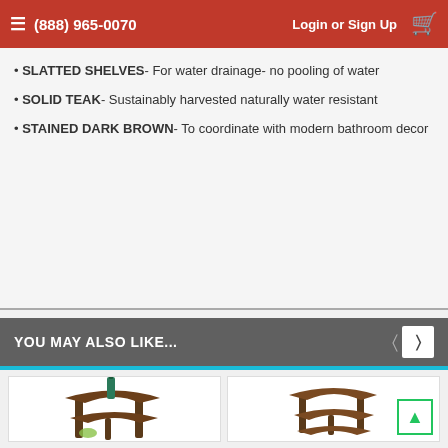(888) 965-0070  Login or Sign Up
SLATTED SHELVES- For water drainage- no pooling of water
SOLID TEAK- Sustainably harvested naturally water resistant
STAINED DARK BROWN- To coordinate with modern bathroom decor
YOU MAY ALSO LIKE...
[Figure (photo): Corner teak table with two shelves and a bottle of champagne and a small green bowl on the lower shelf]
[Figure (photo): Corner teak table with two shelves, smaller size, dark brown finish]